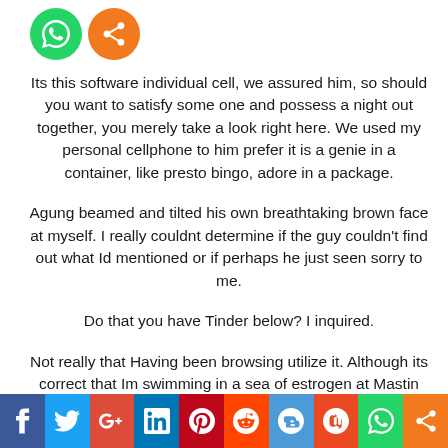[Figure (other): Two circular share icons at top: green WhatsApp icon and orange share icon]
Its this software individual cell, we assured him, so should you want to satisfy some one and possess a night out together, you merely take a look right here. We used my personal cellphone to him prefer it is a genie in a container, like presto bingo, adore in a package.
Agung beamed and tilted his own breathtaking brown face at myself. I really couldnt determine if the guy couldn't find out what Id mentioned or if perhaps he just seen sorry to me.
Do that you have Tinder below? I inquired.
Not really that Having been browsing utilize it. Although its correct that Im swimming in a sea of estrogen at Mastin Kipps 28-day-writing intense into the location of Ubud, Im not quite regarding generate though I became curious www.datingmentor.org/california-oakland-dating basically achieved switch on Tinder what the Balinese prospects might
[Figure (other): Social media sharing bar at bottom: Facebook, Twitter, Google+, LinkedIn, Pinterest, Reddit, Delicious, StumbleUpon, WhatsApp, Share icons]